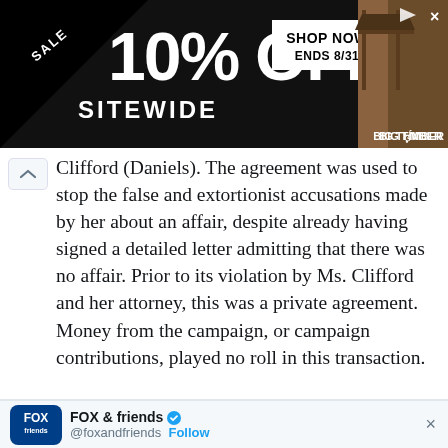[Figure (screenshot): Advertisement banner: SALE 10% OFF SITEWIDE SHOP NOW ENDS 8/31 BIG TIMBER with dark background and gazebo/timber image]
Clifford (Daniels). The agreement was used to stop the false and extortionist accusations made by her about an affair, despite already having signed a detailed letter admitting that there was no affair. Prior to its violation by Ms. Clifford and her attorney, this was a private agreement. Money from the campaign, or campaign contributions, played no roll in this transaction.
FOX & friends @foxandfriends Follow